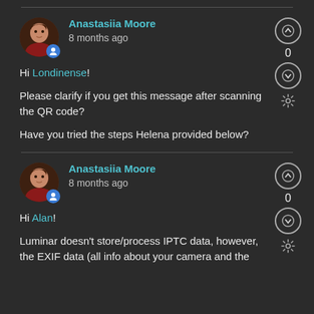Anastasiia Moore
8 months ago
Hi Londinense!
Please clarify if you get this message after scanning the QR code?
Have you tried the steps Helena provided below?
Anastasiia Moore
8 months ago
Hi Alan!
Luminar doesn't store/process IPTC data, however, the EXIF data (all info about your camera and the